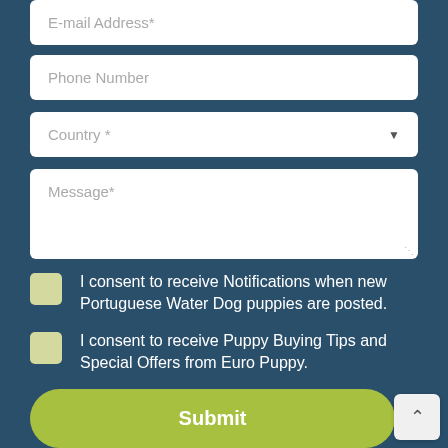E-mail Address*
Phone Number
Country *
Message*
I consent to receive Notifications when new Portuguese Water Dog puppies are posted.
I consent to receive Puppy Buying Tips and Special Offers from Euro Puppy.
Submit